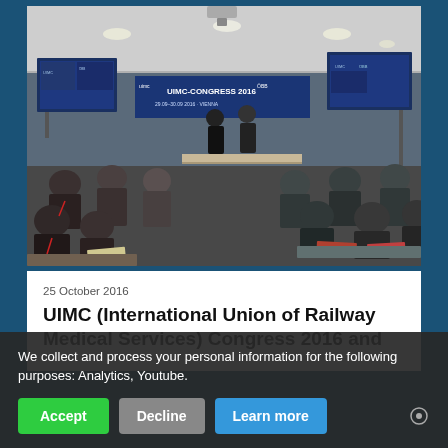[Figure (photo): Conference room photo showing attendees seated facing presenters at a UIMC Congress 2016 event, with projection screens displaying the UIMC logo and content on each side of the room.]
25 October 2016
UIMC (International Union of Railway Medical Services) Congress 2016 and
We collect and process your personal information for the following purposes: Analytics, Youtube.
Accept
Decline
Learn more